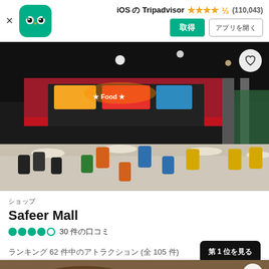iOS の Tripadvisor ★★★★½ (110,043)
[Figure (screenshot): Tripadvisor app icon - green rounded square with owl face logo]
[Figure (photo): Interior of Safeer Mall food court showing colorful chairs (orange, blue, yellow) and food stalls with bright signage in a large indoor space]
ショップ
Safeer Mall
●●●●○ 30 件の口コミ
ランキング 62 件中のアトラクション (全 105 件)
[Figure (photo): Partial view of second listing card showing a dark colored SUV vehicle]